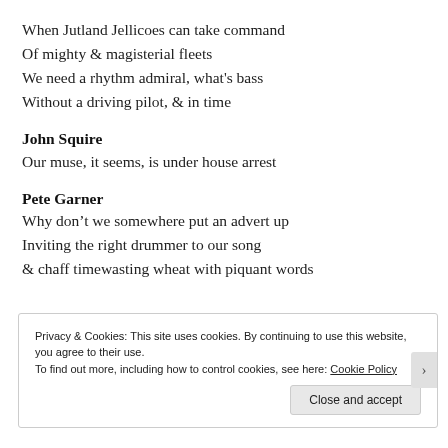When Jutland Jellicoes can take command
Of mighty & magisterial fleets
We need a rhythm admiral, what's bass
Without a driving pilot, & in time
John Squire
Our muse, it seems, is under house arrest
Pete Garner
Why don't we somewhere put an advert up
Inviting the right drummer to our song
& chaff timewasting wheat with piquant words
Privacy & Cookies: This site uses cookies. By continuing to use this website, you agree to their use.
To find out more, including how to control cookies, see here: Cookie Policy

Close and accept